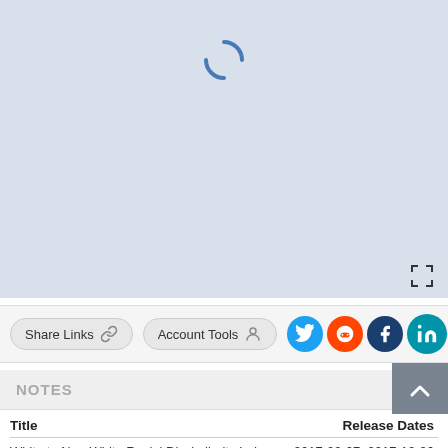[Figure (map): Loading map area with blue-grey background and a spinning loading indicator]
Share Links  Account Tools
NOTES
| Title | Release Dates |
| --- | --- |
| White to Non-White Racial Dissimilarity Index for Manassas city, VA | 2017-02-07  2017-12-06 |